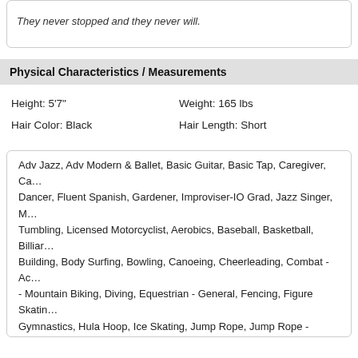They never stopped and they never will.
Physical Characteristics / Measurements
Height: 5'7"
Weight: 165 lbs
Hair Color: Black
Hair Length: Short
Adv Jazz, Adv Modern & Ballet, Basic Guitar, Basic Tap, Caregiver, Ca... Dancer, Fluent Spanish, Gardener, Improviser-IO Grad, Jazz Singer, M... Tumbling, Licensed Motorcyclist, Aerobics, Baseball, Basketball, Billiar... Building, Body Surfing, Bowling, Canoeing, Cheerleading, Combat - Ac... - Mountain Biking, Diving, Equestrian - General, Fencing, Figure Skatin... Gymnastics, Hula Hoop, Ice Skating, Jump Rope, Jump Rope - Double... Motorcycle Riding - General, Mountain Climbing, Ping Pong, Pogo Stic... Running - General, Running - Long Distance, Running - Sprint, Shootin... Shooting - Skeet/Trap, Snorkeling, Surfing, Swimming - ability - genera... stroke, Swimming - butterfly, Swimming - diving, Swimming - freestyle,... Field, Trampoline, Volleyball, Weight Lifting, Wrestling, Yoga, Bartende... Clowning, Comedian, Dance - Breakdance, Dance - Pole Dancing, Dan... Ballet, Dance Ballroom, Dance Belly, Dance Bolero, Dance Cha Cha, D... Dance Line/Country, Dance Mambo, Dance Modern, Dance Rumba...